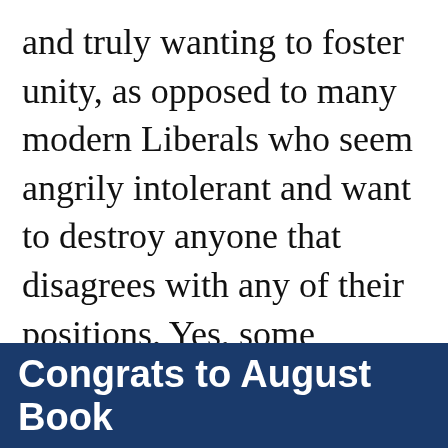and truly wanting to foster unity, as opposed to many modern Liberals who seem angrily intolerant and want to destroy anyone that disagrees with any of their positions. Yes, some Conservatives are regrettably that way as well...
Congrats to August Book